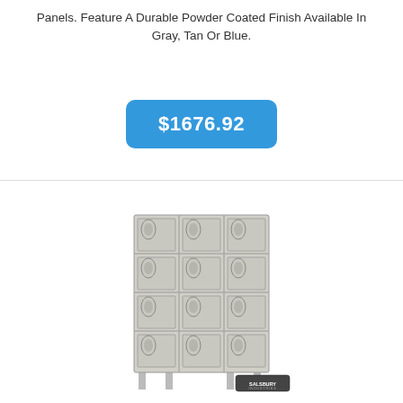Panels. Feature A Durable Powder Coated Finish Available In Gray, Tan Or Blue.
$1676.92
[Figure (photo): Gray metal vented locker unit with 4 rows and 3 columns of lockers (12 total compartments), standing on legs, with Salsbury Industries logo badge in lower right area]